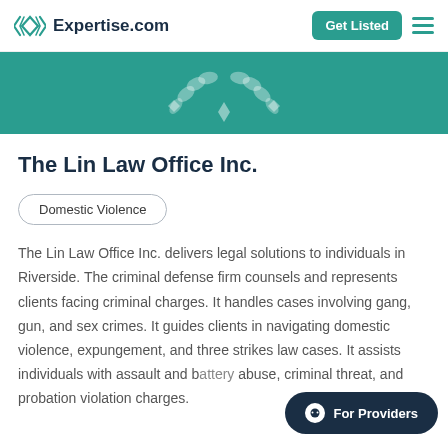Expertise.com | Get Listed
[Figure (illustration): Teal banner with decorative laurel wreath emblem in white]
The Lin Law Office Inc.
Domestic Violence
The Lin Law Office Inc. delivers legal solutions to individuals in Riverside. The criminal defense firm counsels and represents clients facing criminal charges. It handles cases involving gang, gun, and sex crimes. It guides clients in navigating domestic violence, expungement, and three strikes law cases. It assists individuals with assault and battery abuse, criminal threat, and probation violation charges.